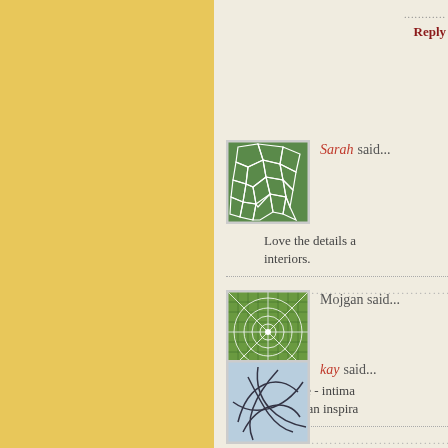Reply
[Figure (illustration): Green geometric mosaic/voronoi pattern avatar for Sarah]
Sarah said...
Love the details a... interiors.
Reply
[Figure (illustration): Green spider-web/radial pattern avatar for Mojgan]
Mojgan said...
exquisite - intima... You are an inspira...
Reply
[Figure (illustration): Light blue abstract line drawing avatar for kay]
kay said...
wow. it's so amaz... remember those e... and now you're ta...